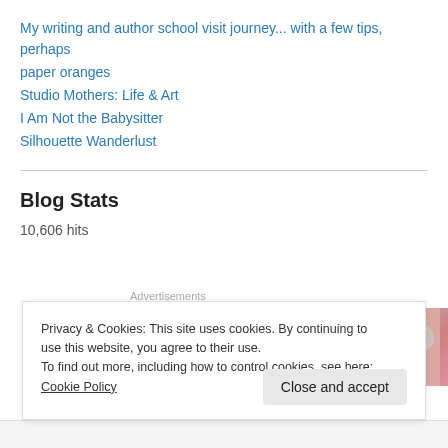My writing and author school visit journey... with a few tips, perhaps
paper oranges
Studio Mothers: Life & Art
I Am Not the Babysitter
Silhouette Wanderlust
Blog Stats
10,606 hits
[Figure (photo): Advertisements banner showing pharmaceutical/Merck branded cards or packaging with partial text visible including 'MERCK']
Privacy & Cookies: This site uses cookies. By continuing to use this website, you agree to their use.
To find out more, including how to control cookies, see here: Cookie Policy
Close and accept